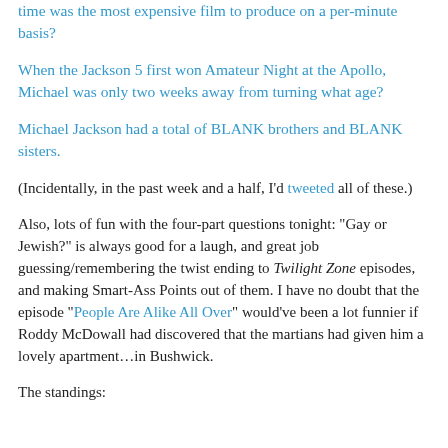time was the most expensive film to produce on a per-minute basis?
When the Jackson 5 first won Amateur Night at the Apollo, Michael was only two weeks away from turning what age?
Michael Jackson had a total of BLANK brothers and BLANK sisters.
(Incidentally, in the past week and a half, I'd tweeted all of these.)
Also, lots of fun with the four-part questions tonight: "Gay or Jewish?" is always good for a laugh, and great job guessing/remembering the twist ending to Twilight Zone episodes, and making Smart-Ass Points out of them. I have no doubt that the episode "People Are Alike All Over" would've been a lot funnier if Roddy McDowall had discovered that the martians had given him a lovely apartment…in Bushwick.
The standings: